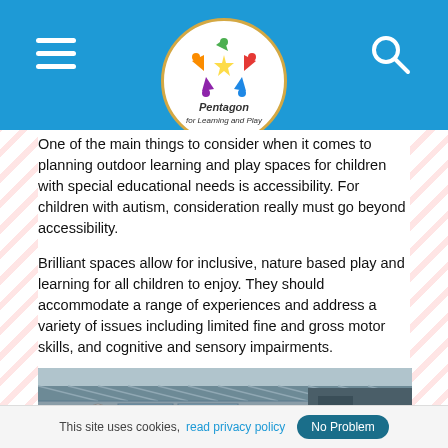Pentagon Learning and Play
One of the main things to consider when it comes to planning outdoor learning and play spaces for children with special educational needs is accessibility. For children with autism, consideration really must go beyond accessibility.
Brilliant spaces allow for inclusive, nature based play and learning for all children to enjoy. They should accommodate a range of experiences and address a variety of issues including limited fine and gross motor skills, and cognitive and sensory impairments.
[Figure (photo): Photograph of an outdoor school building with a metal/glass roof structure, showing what appears to be a covered outdoor learning area or veranda.]
This site uses cookies, read privacy policy  No Problem